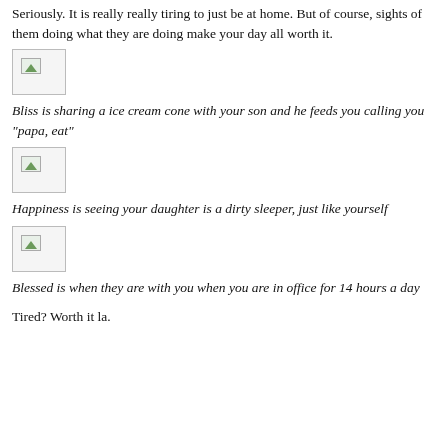Seriously. It is really really tiring to just be at home. But of course, sights of them doing what they are doing make your day all worth it.
[Figure (photo): Broken image placeholder]
Bliss is sharing a ice cream cone with your son and he feeds you calling you "papa, eat"
[Figure (photo): Broken image placeholder]
Happiness is seeing your daughter is a dirty sleeper, just like yourself
[Figure (photo): Broken image placeholder]
Blessed is when they are with you when you are in office for 14 hours a day
Tired? Worth it la.